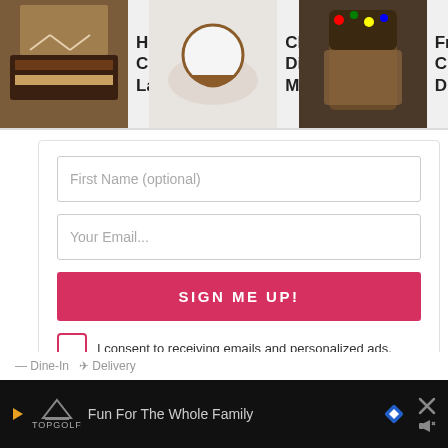[Figure (screenshot): Website header showing recipe thumbnails: Hot Chocolate Lasagna, Chocolate Dipped Meringue..., Frozen Chocolate Dipped...]
Hot Chocolate Lasagna
Chocolate Dipped Meringue...
Frozen Chocolate Dipped...
First Name (optional)
Your Email...
SIGN ME UP!
I consent to receiving emails and personalized ads.
276
TIPS
You can use any serving dish you'd like for this treat, but I think it is “scariest” when served in a
Fun For The Whole Family